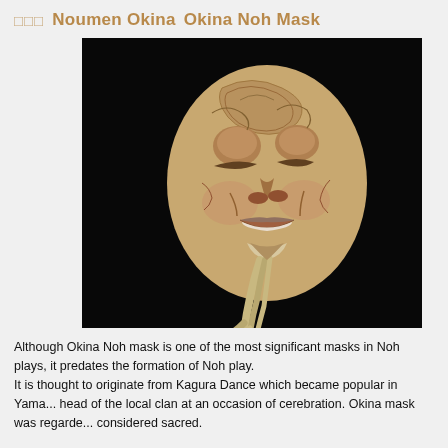能面　Noumen Okina　Okina Noh Mask
[Figure (photo): A Noh mask known as the Okina mask. The mask depicts an elderly man's face with swirling carved details around the eyes and forehead, a gentle smile with visible teeth, white hair/beard, and a long flowing white queue hanging below. Photographed against a black background.]
Although Okina Noh mask is one of the most significant masks in Noh plays, it predates the formation of Noh play.
It is thought to originate from Kagura Dance which became popular in Yama... head of the local clan at an occasion of cerebration. Okina mask was regarde... considered sacred.